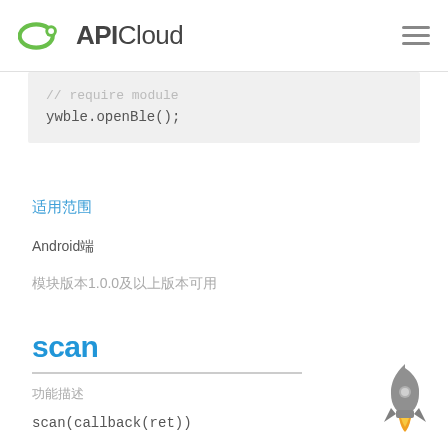APICloud
ywble.openBle();
适用范围
Android端
模块版本1.0.0及以上版本可用
scan
功能描述
scan(callback(ret))